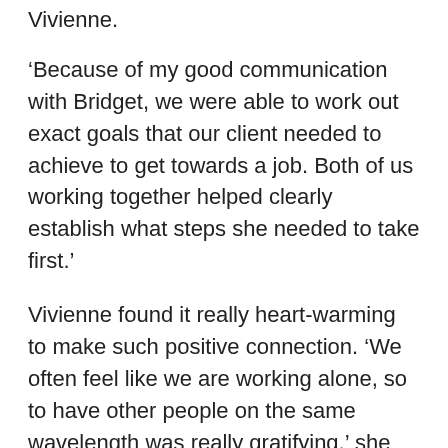Vivienne.
‘Because of my good communication with Bridget, we were able to work out exact goals that our client needed to achieve to get towards a job. Both of us working together helped clearly establish what steps she needed to take first.’
Vivienne found it really heart-warming to make such positive connection. ‘We often feel like we are working alone, so to have other people on the same wavelength was really gratifying,’ she shares.
It could be just fortuitous that the person you need to make a connection with is your fellow apprentice. But whether it is or not, the idea behind Connect is to encourage apprentices to establish connections within your communities to improve access to other support